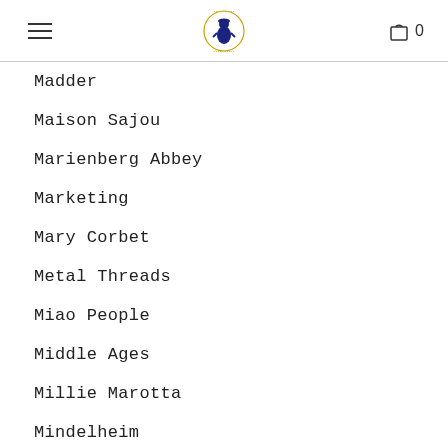[logo] 0
Madder
Maison Sajou
Marienberg Abbey
Marketing
Mary Corbet
Metal Threads
Miao People
Middle Ages
Millie Marotta
Mindelheim
M. Maurer
Mokuba